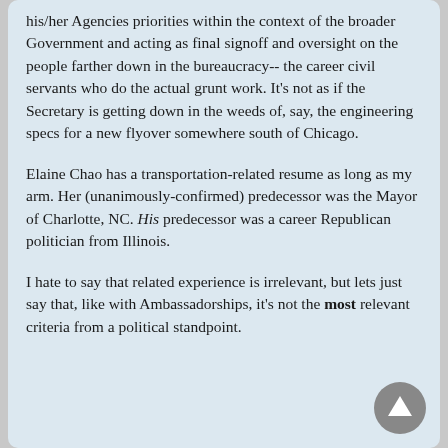his/her Agencies priorities within the context of the broader Government and acting as final signoff and oversight on the people farther down in the bureaucracy-- the career civil servants who do the actual grunt work. It's not as if the Secretary is getting down in the weeds of, say, the engineering specs for a new flyover somewhere south of Chicago.
Elaine Chao has a transportation-related resume as long as my arm. Her (unanimously-confirmed) predecessor was the Mayor of Charlotte, NC. His predecessor was a career Republican politician from Illinois.
I hate to say that related experience is irrelevant, but lets just say that, like with Ambassadorships, it's not the most relevant criteria from a political standpoint.